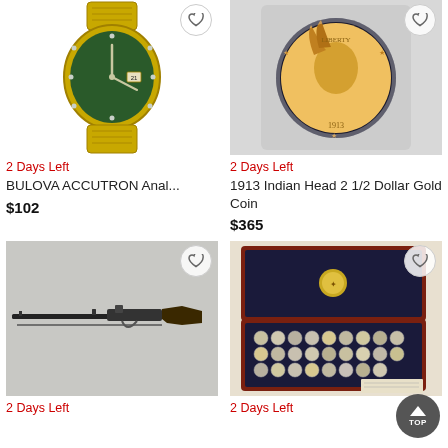[Figure (photo): Gold Bulova Accutron analog watch with green face on gold bracelet]
2 Days Left
BULOVA ACCUTRON Anal...
$102
[Figure (photo): 1913 Indian Head 2 1/2 Dollar Gold Coin in clear round holder]
2 Days Left
1913 Indian Head 2 1/2 Dollar Gold Coin
$365
[Figure (photo): Antique flintlock rifle / musket against gray background]
2 Days Left
[Figure (photo): Wooden display case containing a large collection of coins with gold seal on lid]
2 Days Left